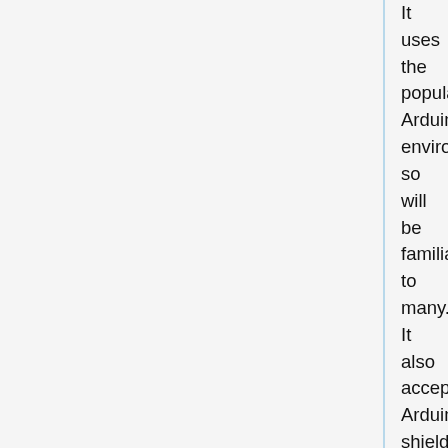It uses the popular Arduino environment so will be familiar to many. It also accepts Arduino shields, and a wireless shield based on the popular RFM12 device is planned. This will open up the Nanode to wireless networking and creating bridges between wireless, and wired networks and the Internet.
Nanode consists of a small PCB which has the ATmega328 microcontroller, some glue logic, the ENC28J60 ethernet controller and a Magjack ethernet connector. The board only uses through-hole and DIL conventional components - so that it can be easily assembled by anyone who has basic soldering skills.
It makes an ideal project for a teaching workshop on web connectivity, and as such will appeal to Hackspaces for advanced Arduino workshops.